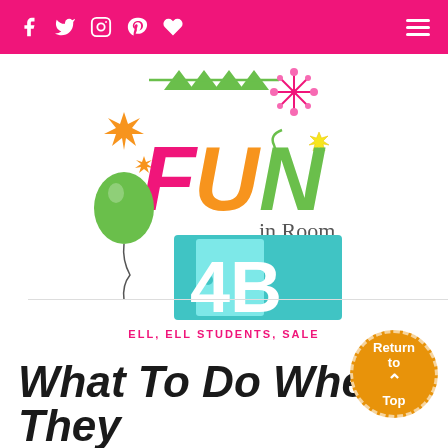Navigation bar with social icons: Facebook, Twitter, Instagram, Pinterest, Heart, and hamburger menu
[Figure (logo): Fun in Room 4B logo: colorful text 'FUN' in pink, orange, green with party banner, fireworks, star, balloon, and teal door with '4B' text. Festive educational blog logo.]
ELL, ELL STUDENTS, SALE
What To Do When They